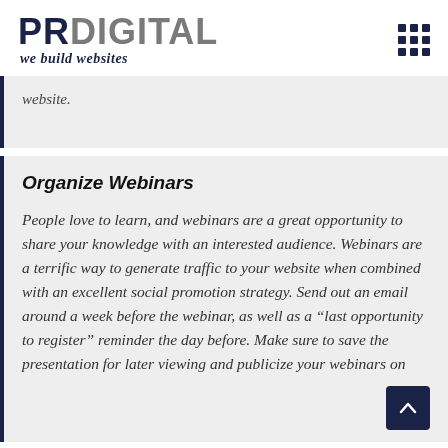PR DIGITAL we build websites
website.
Organize Webinars
People love to learn, and webinars are a great opportunity to share your knowledge with an interested audience. Webinars are a terrific way to generate traffic to your website when combined with an excellent social promotion strategy. Send out an email around a week before the webinar, as well as a “last opportunity to register” reminder the day before. Make sure to save the presentation for later viewing and publicize your webinars on